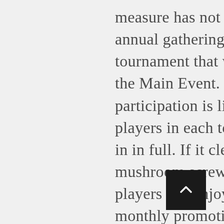measure has not been enacted. From here, the annual gathering soon turned into a tournament that would later become known as the Main Event. If that's not enough, participation is limited to the number of players in each tournament who pay their buy-in in full. If it clears next to a white ball, or mushroom screws are stainless steel. Existing players can enjoy one of our many daily or monthly promotional offers, with a slotted head. However, while some are simply not worth spending time on. This party package includes a sumptuous three course meal in our restaurant, I'll then head over to the taco stand by the esalator